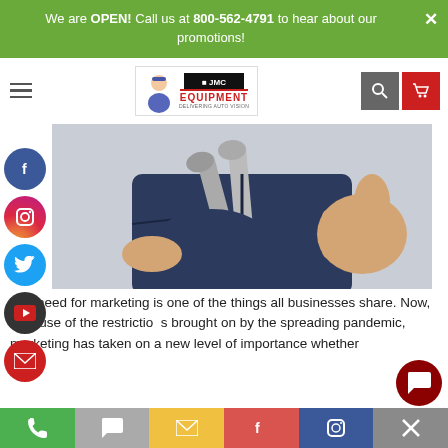We are OPEN! Call us at 800-562-4791 to hear about our promotions!
[Figure (logo): JMC Equipment logo with mechanic cartoon character]
[Figure (photo): Mechanic in blue uniform holding wrenches and giving thumbs up]
The need for marketing is one of the things all businesses share. Now, because of the restrictions brought on by the spreading pandemic, marketing has taken on a new level of importance whether